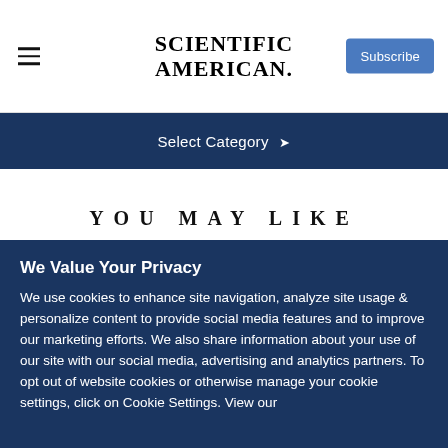SCIENTIFIC AMERICAN
Select Category ▾
YOU MAY LIKE
MIND
November 2014
We Value Your Privacy
We use cookies to enhance site navigation, analyze site usage & personalize content to provide social media features and to improve our marketing efforts. We also share information about your use of our site with our social media, advertising and analytics partners. To opt out of website cookies or otherwise manage your cookie settings, click on Cookie Settings. View our